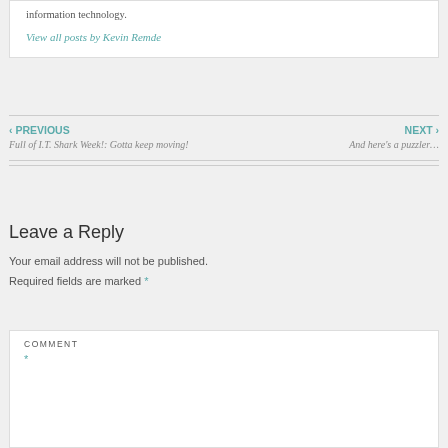information technology.
View all posts by Kevin Remde
‹ PREVIOUS
Full of I.T. Shark Week!: Gotta keep moving!
NEXT ›
And here's a puzzler…
Leave a Reply
Your email address will not be published. Required fields are marked *
COMMENT *